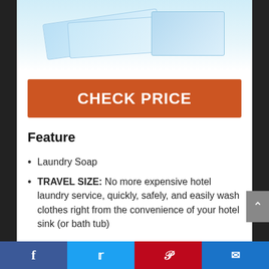[Figure (photo): Product photo showing travel size laundry soap packets and box packaging with blue coloring]
CHECK PRICE
Feature
Laundry Soap
TRAVEL SIZE: No more expensive hotel laundry service, quickly, safely, and easily wash clothes right from the convenience of your hotel sink (or bath tub)
[Figure (other): Social media share bar at bottom with Facebook, Twitter, Pinterest, and email icons]